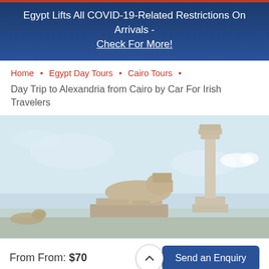Egypt Lifts All COVID-19-Related Restrictions On Arrivals - Check For More!
Home • Egypt Day Tours • Cairo Tours •
Day Trip to Alexandria from Cairo by Car For Irish Travelers
[Figure (photo): Photo of Alexandria Egypt showing a sphinx statue and Pompey's Pillar column against a light blue sky]
From From: $70
Send an Enquiry